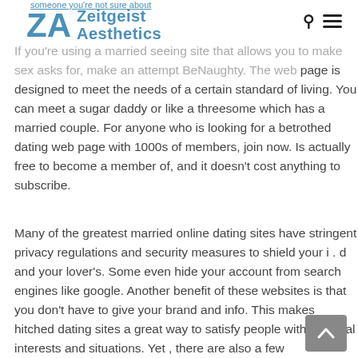someone you're not sure about — Zeitgeist Aesthetics
If you're using a married seeing site that allows you to make sex asks for, make an attempt BeNaughty. The web page is designed to meet the needs of a certain standard of living. You can meet a sugar daddy or like a threesome which has a married couple. For anyone who is looking for a betrothed dating web page with 1000s of members, join now. Is actually free to become a member of, and it doesn't cost anything to subscribe.
Many of the greatest married online dating sites have stringent privacy regulations and security measures to shield your i . d and your lover's. Some even hide your account from search engines like google. Another benefit of these websites is that you don't have to give your brand and info. This makes hitched dating sites a great way to satisfy people with identical interests and situations. Yet , there are also a few